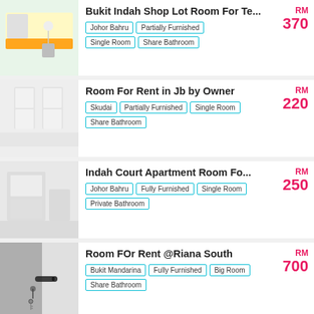[Figure (photo): Room photo showing a bed with orange mattress and white chair]
Bukit Indah Shop Lot Room For Te...
Johor Bahru | Partially Furnished | Single Room | Share Bathroom
RM 370
[Figure (photo): Blurred room photo showing white bunk beds]
Room For Rent in Jb by Owner
Skudai | Partially Furnished | Single Room | Share Bathroom
RM 220
[Figure (photo): Blurred apartment room interior photo]
Indah Court Apartment Room Fo...
Johor Bahru | Fully Furnished | Single Room | Private Bathroom
RM 250
[Figure (photo): Photo of a door handle with keys]
Room FOr Rent @Riana South
Bukit Mandarina | Fully Furnished | Big Room | Share Bathroom
RM 700